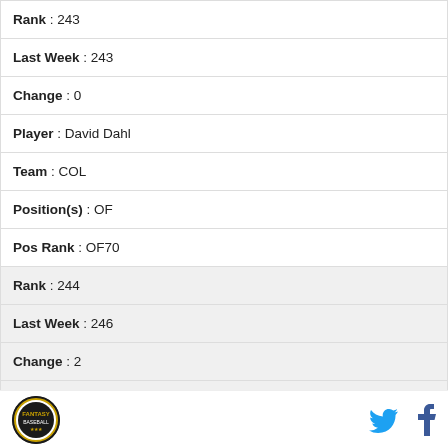| Rank : 243 |
| Last Week : 243 |
| Change : 0 |
| Player : David Dahl |
| Team : COL |
| Position(s) : OF |
| Pos Rank : OF70 |
| Rank : 244 |
| Last Week : 246 |
| Change : 2 |
| Player : Jason Heyward |
| Team : CHC |
Logo | Twitter | Facebook